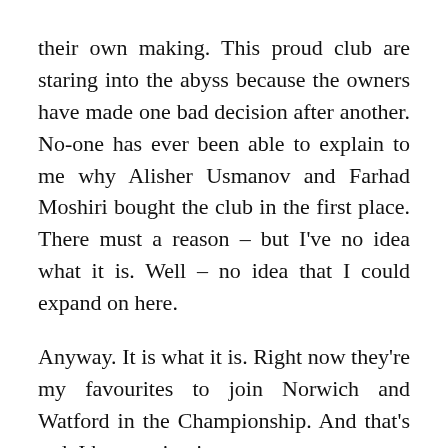their own making. This proud club are staring into the abyss because the owners have made one bad decision after another. No-one has ever been able to explain to me why Alisher Usmanov and Farhad Moshiri bought the club in the first place. There must a reason – but I've no idea what it is. Well – no idea that I could expand on here.

Anyway. It is what it is. Right now they're my favourites to join Norwich and Watford in the Championship. And that's sad. I hate saying it.

But – what if they go by just a point? A single point – one that could've been taken from the game v Man City? Even Mike Riley had to